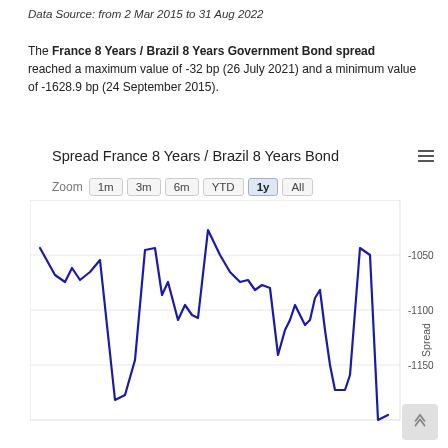Data Source: from 2 Mar 2015 to 31 Aug 2022
The France 8 Years / Brazil 8 Years Government Bond spread reached a maximum value of -32 bp (26 July 2021) and a minimum value of -1628.9 bp (24 September 2015).
[Figure (continuous-plot): Line chart showing the spread between France 8 Years and Brazil 8 Years Government Bonds over time. The y-axis shows values around -1050 to -1150 (visible range). The blue line fluctuates with multiple peaks and troughs.]